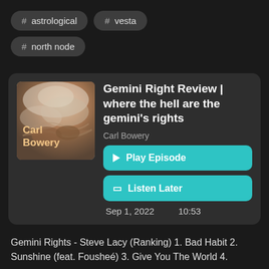# astrological
# vesta
# north node
[Figure (illustration): Album art for Carl Bowery podcast with classical painting background, text reads 'Carl Bowery']
Gemini Right Review | where the hell are the gemini's rights
Carl Bowery
Play Episode
Listen Later
Sep 1, 2022   10:53
Gemini Rights - Steve Lacy (Ranking) 1. Bad Habit 2. Sunshine (feat. Fousheé) 3. Give You The World 4.